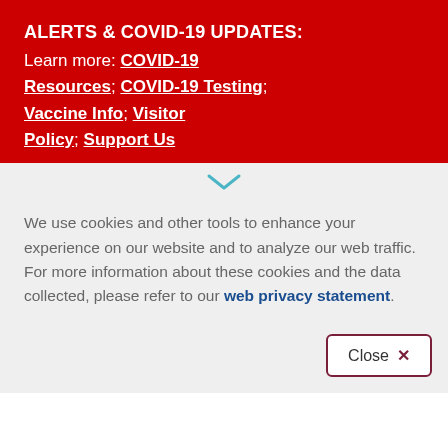ALERTS & COVID-19 UPDATES:
Learn more: COVID-19 Resources; COVID-19 Testing; Vaccine Info; Visitor Policy; Support Us
We use cookies and other tools to enhance your experience on our website and to analyze our web traffic. For more information about these cookies and the data collected, please refer to our web privacy statement.